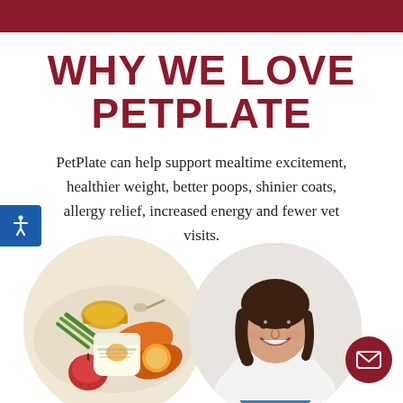WHY WE LOVE PETPLATE
PetPlate can help support mealtime excitement, healthier weight, better poops, shinier coats, allergy relief, increased energy and fewer vet visits.
[Figure (photo): Circular photo of PetPlate food products including a jar of broth, a container of food with a chicken logo, sweet potatoes, green beans, apple, and other ingredients on a white background.]
[Figure (photo): Circular portrait photo of a smiling woman with dark hair wearing a white lab coat over a blue shirt, presumably a veterinarian or nutritionist.]